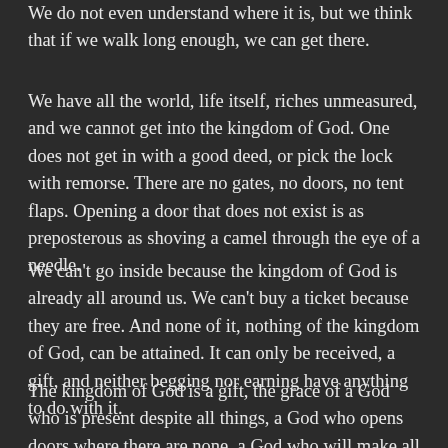We do not even understand where it is, but we think that if we walk long enough, we can get there.
We have all the world, life itself, riches unmeasured, and we cannot get into the kingdom of God. One does not get in with a good deed, or pick the lock with remorse. There are no gates, no doors, no tent flaps. Opening a door that does not exist is as preposterous as shoving a camel through the eye of a needle.
We can't go inside because the kingdom of God is already all around us. We can't buy a ticket because they are free. And none of it, nothing of the kingdom of God, can be attained. It can only be received, a gift, and neither begging nor earning have anything to do with it.
The kingdom of God is a gift, the grace of a God who is present despite all things, a God who opens doors where there are none, a God who will make all things well.